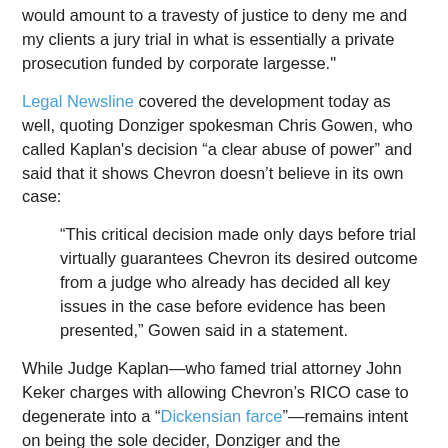would amount to a travesty of justice to deny me and my clients a jury trial in what is essentially a private prosecution funded by corporate largesse."
Legal Newsline covered the development today as well, quoting Donziger spokesman Chris Gowen, who called Kaplan's decision “a clear abuse of power” and said that it shows Chevron doesn’t believe in its own case:
“This critical decision made only days before trial virtually guarantees Chevron its desired outcome from a judge who already has decided all key issues in the case before evidence has been presented,” Gowen said in a statement.
While Judge Kaplan—who famed trial attorney John Keker charges with allowing Chevron’s RICO case to degenerate into a “Dickensian farce”—remains intent on being the sole decider, Donziger and the Ecuadoreans are preparing for trial.
As we file this post, there is one brief comment on the Legal